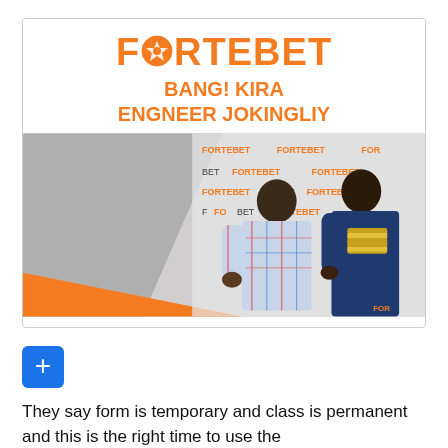[Figure (photo): ForteBet branded image with logo at top reading FORTEBET with a soccer ball replacing the O, orange subtitle text saying BANG! KIRA ENGNEER JOKINGLIY, and a photo of two men standing in front of a ForteBet branded backdrop with an orange triangle graphic. One man in plaid shirt, one in dark shirt holding stacked envelopes.]
[Figure (other): Blue button with a white plus (+) sign]
They say form is temporary and class is permanent and this is the right time to use the